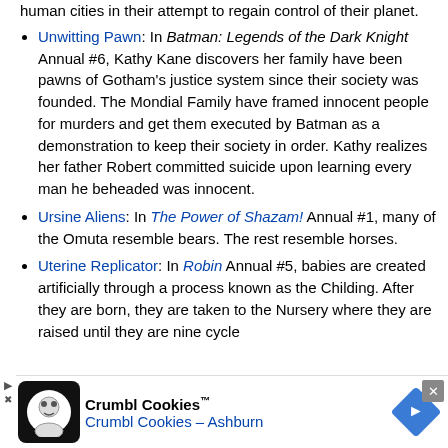human cities in their attempt to regain control of their planet.
Unwitting Pawn: In Batman: Legends of the Dark Knight Annual #6, Kathy Kane discovers her family have been pawns of Gotham's justice system since their society was founded. The Mondial Family have framed innocent people for murders and get them executed by Batman as a demonstration to keep their society in order. Kathy realizes her father Robert committed suicide upon learning every man he beheaded was innocent.
Ursine Aliens: In The Power of Shazam! Annual #1, many of the Omuta resemble bears. The rest resemble horses.
Uterine Replicator: In Robin Annual #5, babies are created artificially through a process known as the Childing. After they are born, they are taken to the Nursery where they are raised until they are nine cycle
[Figure (other): Crumbl Cookies advertisement banner with logo, name, and location 'Crumbl Cookies – Ashburn']